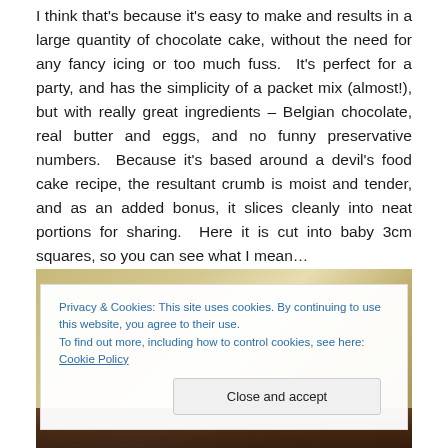I think that's because it's easy to make and results in a large quantity of chocolate cake, without the need for any fancy icing or too much fuss.  It's perfect for a party, and has the simplicity of a packet mix (almost!), but with really great ingredients – Belgian chocolate, real butter and eggs, and no funny preservative numbers.  Because it's based around a devil's food cake recipe, the resultant crumb is moist and tender, and as an added bonus, it slices cleanly into neat portions for sharing.  Here it is cut into baby 3cm squares, so you can see what I mean…
[Figure (photo): Partially visible photo of chocolate cake squares, overlaid by a cookie consent banner]
Privacy & Cookies: This site uses cookies. By continuing to use this website, you agree to their use.
To find out more, including how to control cookies, see here: Cookie Policy
Close and accept